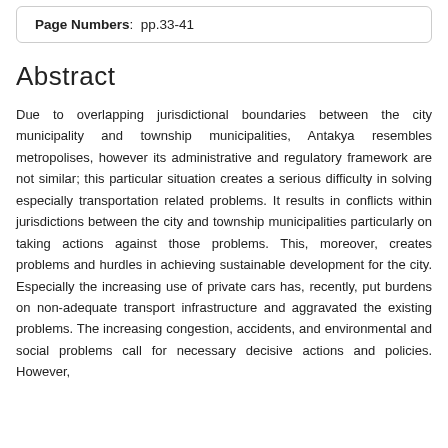| Page Numbers:  pp.33-41 |
Abstract
Due to overlapping jurisdictional boundaries between the city municipality and township municipalities, Antakya resembles metropolises, however its administrative and regulatory framework are not similar; this particular situation creates a serious difficulty in solving especially transportation related problems. It results in conflicts within jurisdictions between the city and township municipalities particularly on taking actions against those problems. This, moreover, creates problems and hurdles in achieving sustainable development for the city. Especially the increasing use of private cars has, recently, put burdens on non-adequate transport infrastructure and aggravated the existing problems. The increasing congestion, accidents, and environmental and social problems call for necessary decisive actions and policies. However,